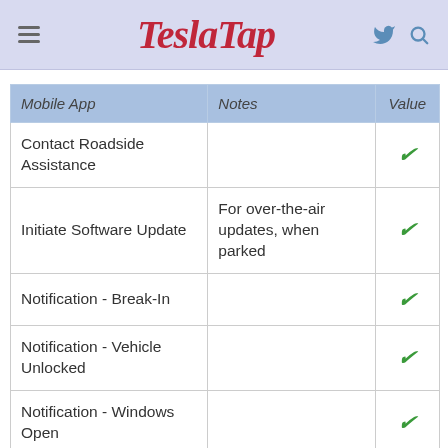TeslaTap
| Mobile App | Notes | Value |
| --- | --- | --- |
| Contact Roadside Assistance |  | ✓ |
| Initiate Software Update | For over-the-air updates, when parked | ✓ |
| Notification - Break-In |  | ✓ |
| Notification - Vehicle Unlocked |  | ✓ |
| Notification - Windows Open |  | ✓ |
| Remote Charging Control and Status | Set the charging limits, start/stop charging |  |